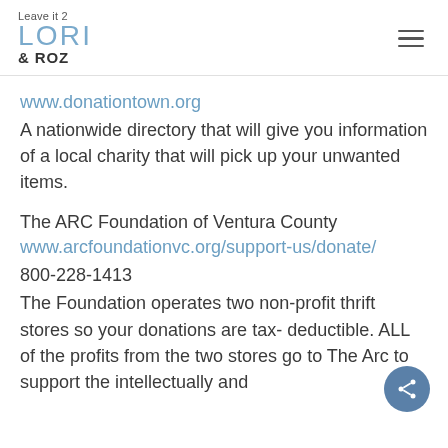Leave it 2 LORI & ROZ
www.donationtown.org
A nationwide directory that will give you information of a local charity that will pick up your unwanted items.
The ARC Foundation of Ventura County
www.arcfoundationvc.org/support-us/donate/
800-228-1413
The Foundation operates two non-profit thrift stores so your donations are tax- deductible. ALL of the profits from the two stores go to The Arc to support the intellectually and